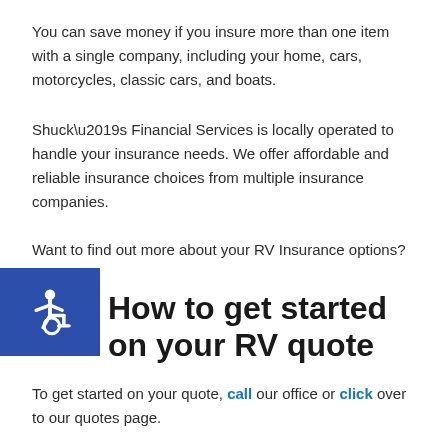You can save money if you insure more than one item with a single company, including your home, cars, motorcycles, classic cars, and boats.
Shuck’s Financial Services is locally operated to handle your insurance needs. We offer affordable and reliable insurance choices from multiple insurance companies.
Want to find out more about your RV Insurance options?
[Figure (illustration): Blue square with white wheelchair accessibility icon]
How to get started on your RV quote
To get started on your quote, call our office or click over to our quotes page.